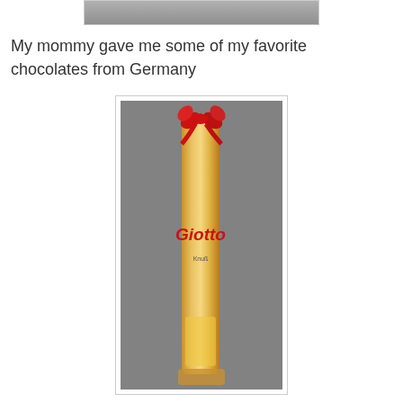[Figure (photo): Partial view of a photo at the top of the page, cropped, showing a blurry image on a grey surface]
My mommy gave me some of my favorite chocolates from Germany
[Figure (photo): Photo of a Giotto chocolate tube standing upright on a grey carpet background, with a red ribbon/bow at the top. The tube has the Giotto brand name in red italic letters on a golden/cream colored packaging.]